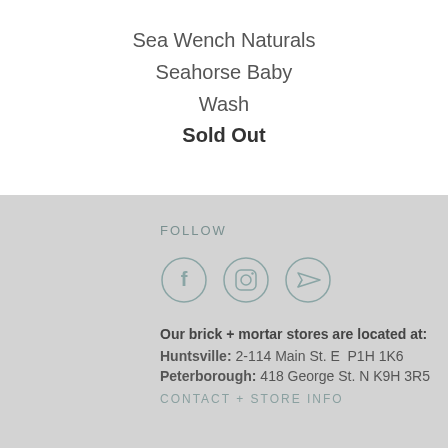Sea Wench Naturals
Seahorse Baby Wash
Sold Out
FOLLOW
[Figure (illustration): Three social media icon circles: Facebook (f), Instagram (camera), and a paper plane/send icon]
Our brick + mortar stores are located at:
Huntsville: 2-114 Main St. E  P1H 1K6
Peterborough: 418 George St. N K9H 3R5
CONTACT + STORE INFO